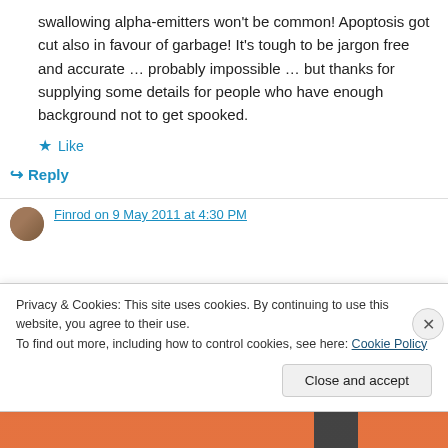swallowing alpha-emitters won't be common! Apoptosis got cut also in favour of garbage! It's tough to be jargon free and accurate … probably impossible … but thanks for supplying some details for people who have enough background not to get spooked.
Like
Reply
Finrod on 9 May 2011 at 4:30 PM
Privacy & Cookies: This site uses cookies. By continuing to use this website, you agree to their use.
To find out more, including how to control cookies, see here: Cookie Policy
Close and accept